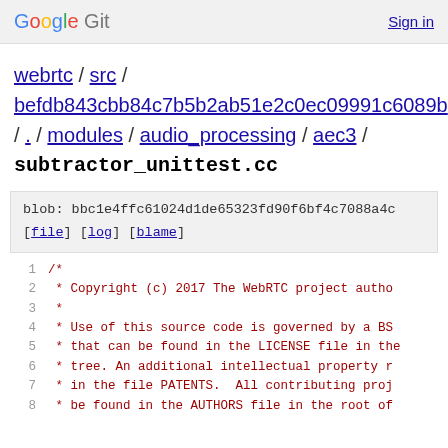Google Git  Sign in
webrtc / src / befdb843cbb84c7b5b2ab51e2c0ec09991c6089b / . / modules / audio_processing / aec3 /
subtractor_unittest.cc
blob: bbc1e4ffc61024d1de65323fd90f6bf4c7088a4c
[file] [log] [blame]
1  /*
2   * Copyright (c) 2017 The WebRTC project autho
3   *
4   * Use of this source code is governed by a BS
5   * that can be found in the LICENSE file in the
6   * tree. An additional intellectual property r
7   * in the file PATENTS.  All contributing proj
8   * be found in the AUTHORS file in the root of